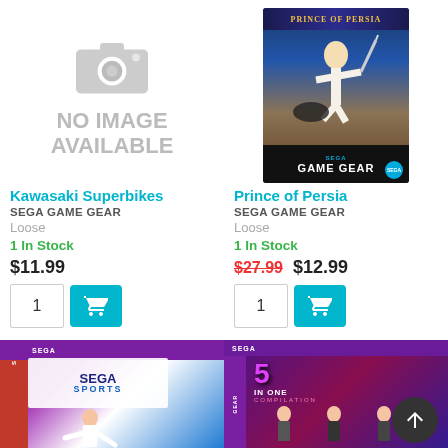[Figure (other): No image available placeholder with camera icon]
[Figure (photo): Prince of Persia Sega Game Gear game box art showing a warrior with a sword]
Kawasaki Superbikes
SEGA GAME GEAR
Loose
1 In Stock
$11.99
Prince of Persia
SEGA GAME GEAR
Loose
1 In Stock
$27.99  $12.99
[Figure (photo): Sega Sports game box art - bottom left partial]
[Figure (photo): 5 in 1 Compilation Sega Game Gear - bottom right partial]